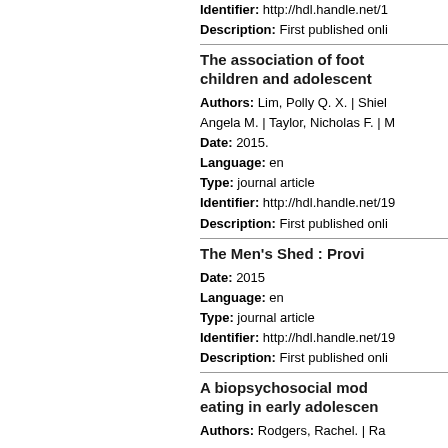Identifier: http://hdl.handle.net/1...
Description: First published onli...
The association of foot... children and adolescent...
Authors: Lim, Polly Q. X. | Shiel... Angela M. | Taylor, Nicholas F. | M...
Date: 2015.
Language: en
Type: journal article
Identifier: http://hdl.handle.net/19...
Description: First published onli...
The Men's Shed : Provi...
Date: 2015
Language: en
Type: journal article
Identifier: http://hdl.handle.net/19...
Description: First published onli...
A biopsychosocial mod... eating in early adolescen...
Authors: Rodgers, Rachel. | Ra...